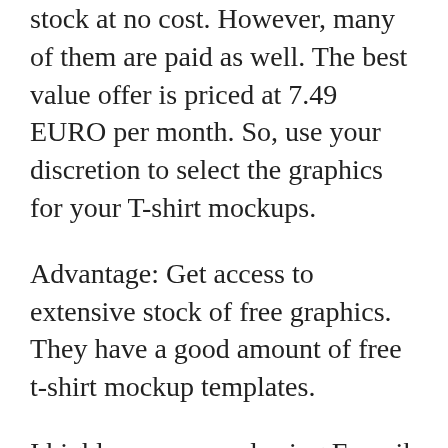stock at no cost. However, many of them are paid as well. The best value offer is priced at 7.49 EURO per month. So, use your discretion to select the graphics for your T-shirt mockups.
Advantage: Get access to extensive stock of free graphics. They have a good amount of free t-shirt mockup templates.
I highly recommend using Freepik for not only T-shirt mockups, but other graphic resources too.